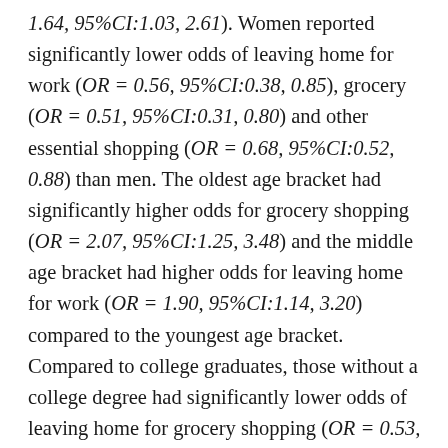1.64, 95%CI:1.03, 2.61). Women reported significantly lower odds of leaving home for work (OR = 0.56, 95%CI:0.38, 0.85), grocery (OR = 0.51, 95%CI:0.31, 0.80) and other essential shopping (OR = 0.68, 95%CI:0.52, 0.88) than men. The oldest age bracket had significantly higher odds for grocery shopping (OR = 2.07, 95%CI:1.25, 3.48) and the middle age bracket had higher odds for leaving home for work (OR = 1.90, 95%CI:1.14, 3.20) compared to the youngest age bracket. Compared to college graduates, those without a college degree had significantly lower odds of leaving home for grocery shopping (OR = 0.53, 95%CI:0.33, 0.87) and exercise (OR = 0.69, 95%CI:0.49, 0.98). Compared to the lowest income bracket, the highest income bracket had significantly higher odds for